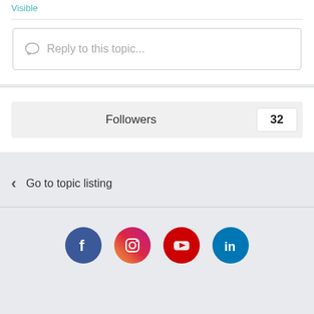Visible
Reply to this topic...
Followers 32
Go to topic listing
[Figure (other): Social media icons: Facebook, Instagram, YouTube, LinkedIn]